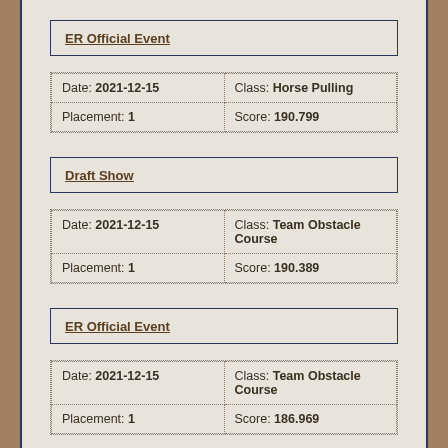ER Official Event
| Date | Class |
| --- | --- |
| Date: 2021-12-15 | Class: Horse Pulling |
| Placement: 1 | Score: 190.799 |
Draft Show
| Date | Class |
| --- | --- |
| Date: 2021-12-15 | Class: Team Obstacle Course |
| Placement: 1 | Score: 190.389 |
ER Official Event
| Date | Class |
| --- | --- |
| Date: 2021-12-15 | Class: Team Obstacle Course |
| Placement: 1 | Score: 186.969 |
Draft Show